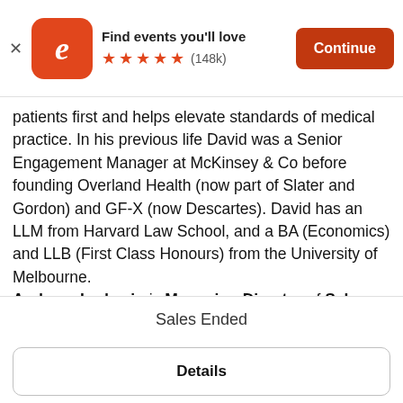[Figure (screenshot): Eventbrite app banner with orange rounded-square logo (white 'e' letter), app title 'Find events you’ll love', five orange stars rating and (148k) review count, and orange 'Continue' button on the right. A close X button is on the left.]
patients first and helps elevate standards of medical practice. In his previous life David was a Senior Engagement Manager at McKinsey & Co before founding Overland Health (now part of Slater and Gordon) and GF-X (now Descartes). David has an LLM from Harvard Law School, and a BA (Economics) and LLB (First Class Honours) from the University of Melbourne.
Andreas Ludowig is Managing Director of Schoen Clinic London and a Board Member of Munich-based Schoen Holdings. Schoen operate 21 hospitals and clinics in Germany and will soon open two in the UK.
Sales Ended
Details